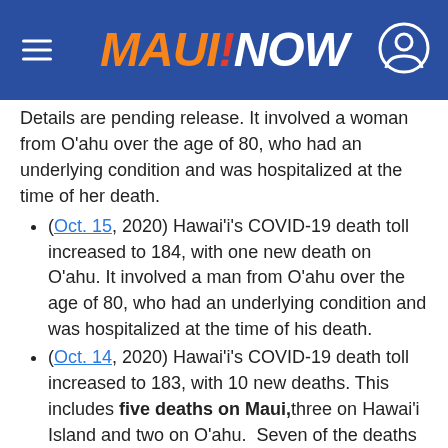Maui Now
Details are pending release. It involved a woman from O‘ahu over the age of 80, who had an underlying condition and was hospitalized at the time of her death.
(Oct. 15, 2020) Hawaiʻi’s COVID-19 death toll increased to 184, with one new death on O‘ahu. It involved a man from O‘ahu over the age of 80, who had an underlying condition and was hospitalized at the time of his death.
(Oct. 14, 2020) Hawaiʻi’s COVID-19 death toll increased to 183, with 10 new deaths. This includes five deaths on Maui, three on Hawaiʻi Island and two on O‘ahu. Seven of the deaths occurred between Aug. 15 and Sept. 30, 2020 and are now reported as a result of updated information received on their cause of death. The other three deaths, one on Hawaiʻi Is...